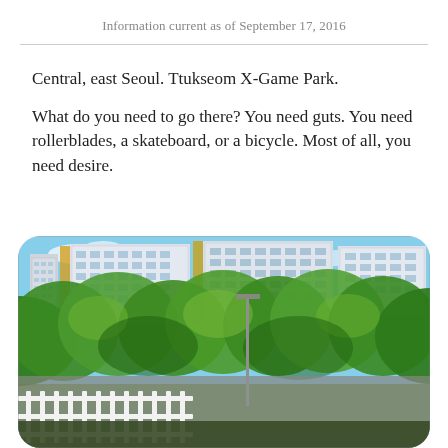Information current as of September 17, 2016
Central, east Seoul. Ttukseom X-Game Park.
What do you need to go there? You need guts. You need rollerblades, a skateboard, or a bicycle. Most of all, you need desire.
[Figure (photo): Outdoor photo of Ttukseom X-Game Park in Seoul showing multi-story apartment/office buildings in the background, dense green tree canopy in the middle ground, a fence structure in the lower left, and a bright blue sky.]